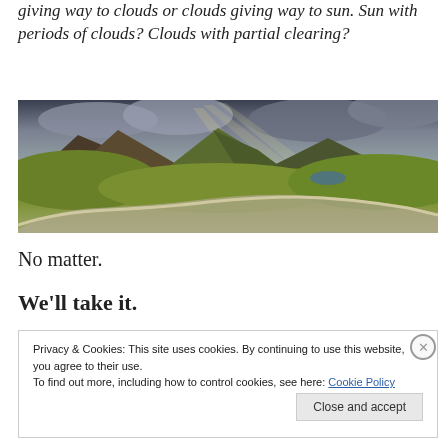giving way to clouds or clouds giving way to sun. Sun with periods of clouds? Clouds with partial clearing?
[Figure (photo): Panoramic landscape photo showing a winding road through green highlands/moorland with dramatic cloudy sky and light rays breaking through, mountains in the background and a small lake visible.]
No matter.
We'll take it.
Privacy & Cookies: This site uses cookies. By continuing to use this website, you agree to their use. To find out more, including how to control cookies, see here: Cookie Policy
Close and accept